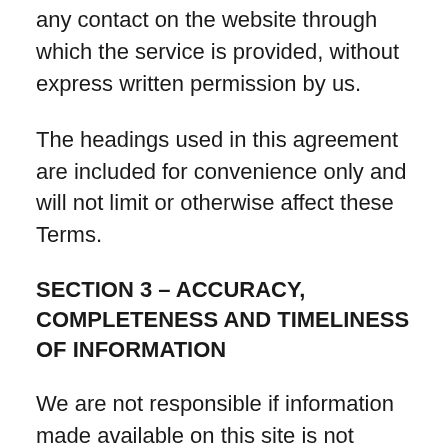any contact on the website through which the service is provided, without express written permission by us.
The headings used in this agreement are included for convenience only and will not limit or otherwise affect these Terms.
SECTION 3 – ACCURACY, COMPLETENESS AND TIMELINESS OF INFORMATION
We are not responsible if information made available on this site is not accurate, complete or current. The material on this site is provided